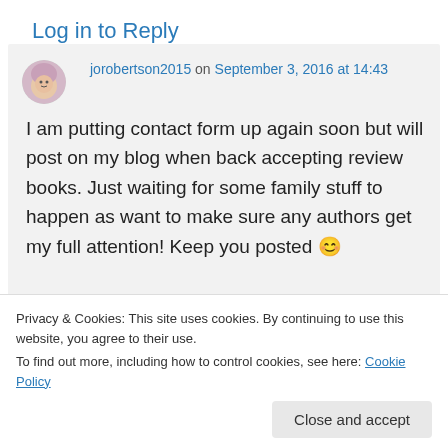Log in to Reply
jorobertson2015 on September 3, 2016 at 14:43
I am putting contact form up again soon but will post on my blog when back accepting review books. Just waiting for some family stuff to happen as want to make sure any authors get my full attention! Keep you posted 😊
Privacy & Cookies: This site uses cookies. By continuing to use this website, you agree to their use.
To find out more, including how to control cookies, see here: Cookie Policy
Close and accept
Stevie Turner on September 3, 2016 at